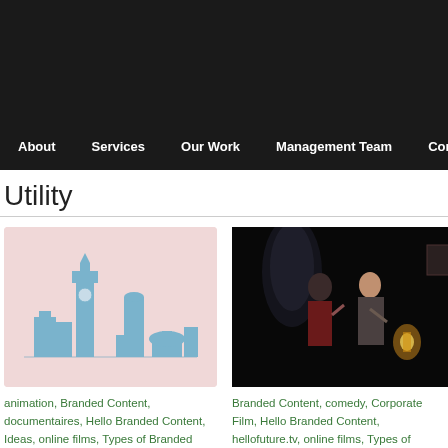About | Services | Our Work | Management Team | Contact
Utility
[Figure (illustration): Illustrated London skyline with Big Ben and other landmarks in blue on a pink background]
animation, Branded Content, documentaires, Hello Branded Content, Ideas, online films, Types of Branded Content, Uncategorized, Utility, vimeo
[Figure (screenshot): Dark cinematic still from a video showing two people in period costumes indoors with a lantern]
Branded Content, comedy, Corporate Film, Hello Branded Content, hellofuture.tv, online films, Types of Branded Content, Uncategorized, Utility, youtube